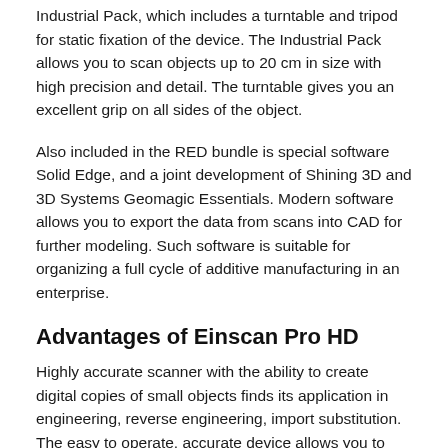Industrial Pack, which includes a turntable and tripod for static fixation of the device. The Industrial Pack allows you to scan objects up to 20 cm in size with high precision and detail. The turntable gives you an excellent grip on all sides of the object.
Also included in the RED bundle is special software Solid Edge, and a joint development of Shining 3D and 3D Systems Geomagic Essentials. Modern software allows you to export the data from scans into CAD for further modeling. Such software is suitable for organizing a full cycle of additive manufacturing in an enterprise.
Advantages of Einscan Pro HD
Highly accurate scanner with the ability to create digital copies of small objects finds its application in engineering, reverse engineering, import substitution. The easy to operate, accurate device allows you to scan parts of different sizes in a short time.
Features of Einscan Pro HD